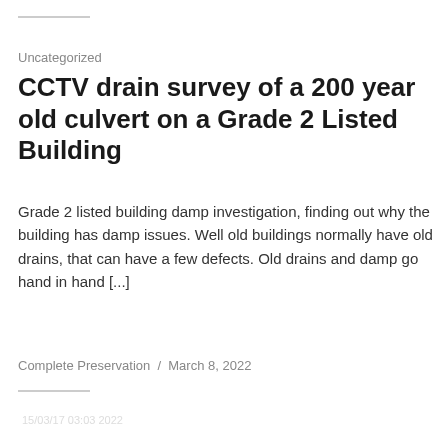Uncategorized
CCTV drain survey of a 200 year old culvert on a Grade 2 Listed Building
Grade 2 listed building damp investigation, finding out why the building has damp issues. Well old buildings normally have old drains, that can have a few defects. Old drains and damp go hand in hand [...]
Complete Preservation  /  March 8, 2022
[Figure (photo): CCTV drain survey image showing inside of an old culvert pipe, with a reddish-brown interior and visible pipe damage, with a timestamp overlay visible at top left]